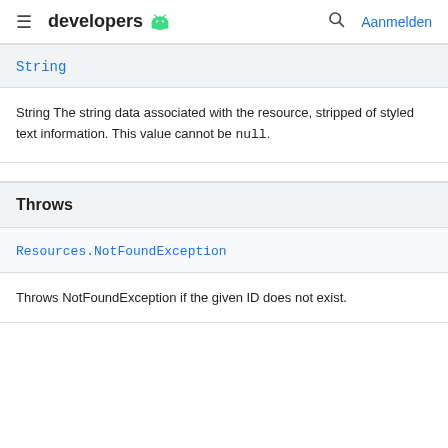≡ developers 🤖   🔍 Aanmelden
String
String The string data associated with the resource, stripped of styled text information. This value cannot be null.
Throws
Resources.NotFoundException
Throws NotFoundException if the given ID does not exist.